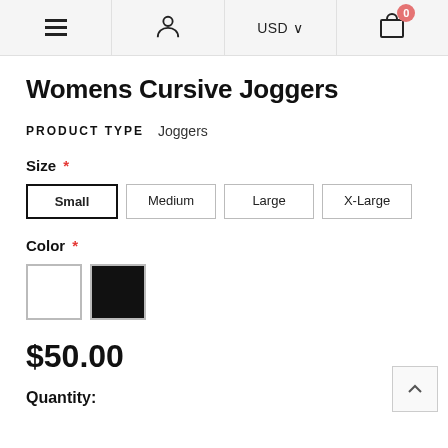Navigation bar with hamburger menu, user icon, USD currency selector, and cart (0 items)
Womens Cursive Joggers
PRODUCT TYPE   Joggers
Size *
Small   Medium   Large   X-Large
Color *
$50.00
Quantity: